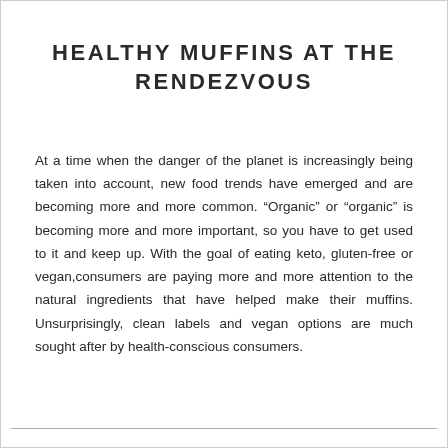HEALTHY MUFFINS AT THE RENDEZVOUS
At a time when the danger of the planet is increasingly being taken into account, new food trends have emerged and are becoming more and more common. “Organic” or “organic” is becoming more and more important, so you have to get used to it and keep up. With the goal of eating keto, gluten-free or vegan,consumers are paying more and more attention to the natural ingredients that have helped make their muffins. Unsurprisingly, clean labels and vegan options are much sought after by health-conscious consumers.